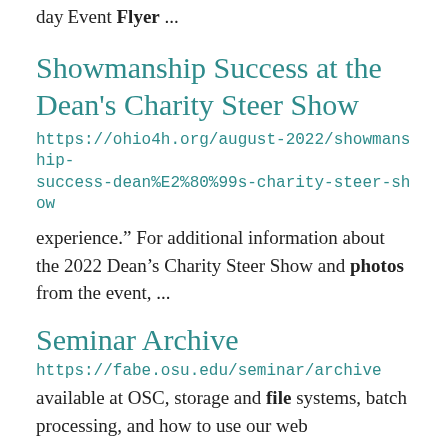day
Event Flyer ...
Showmanship Success at the Dean's Charity Steer Show
https://ohio4h.org/august-2022/showmanship-success-dean%E2%80%99s-charity-steer-show
experience.” For additional information about the 2022 Dean’s Charity Steer Show and photos from the event, ...
Seminar Archive
https://fabe.osu.edu/seminar/archive
available at OSC, storage and file systems, batch processing, and how to use our web